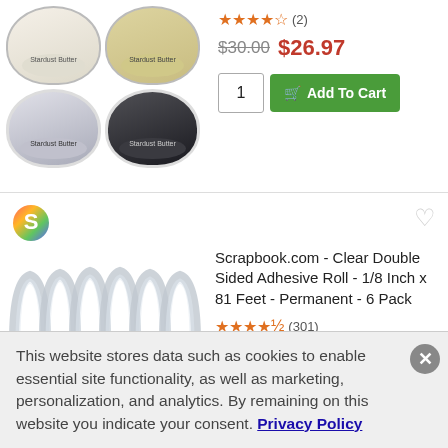[Figure (photo): Four small jars of Stardust Butter in a 2x2 grid: top-left cream/white, top-right champagne/gold, bottom-left platinum/silver, bottom-right marcasite/dark]
(2)
$30.00  $26.97
1  Add To Cart
[Figure (logo): Scrapbook.com rainbow S logo]
Scrapbook.com - Clear Double Sided Adhesive Roll - 1/8 Inch x 81 Feet - Permanent - 6 Pack
[Figure (photo): Six rolls of clear double sided adhesive tape standing upright, viewed from the side showing arched spools]
(301)
$34.99  $9.59
This website stores data such as cookies to enable essential site functionality, as well as marketing, personalization, and analytics. By remaining on this website you indicate your consent. Privacy Policy